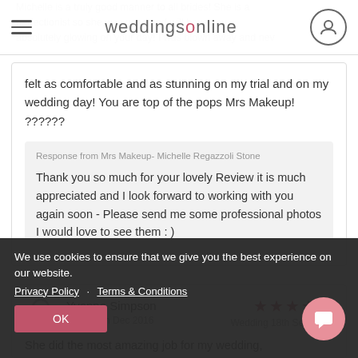weddingsonline
felt as comfortable and as stunning on my trial and on my wedding day! You are top of the pops Mrs Makeup! ??????
Response from Mrs Makeup- Michelle Regazzoli Stone
Thank you so much for your lovely Review it is much appreciated and I look forward to working with you again soon - Please send me some professional photos I would love to see them : )
Yvonne Simpson
Added 8th Dec 2016
Wedding 18th Sep 2016
She did the most amazing job for my wedding, turned out. She listened to what make up stayed put from 8am til the next
We use cookies to ensure that we give you the best experience on our website.
Privacy Policy   Terms & Conditions
OK